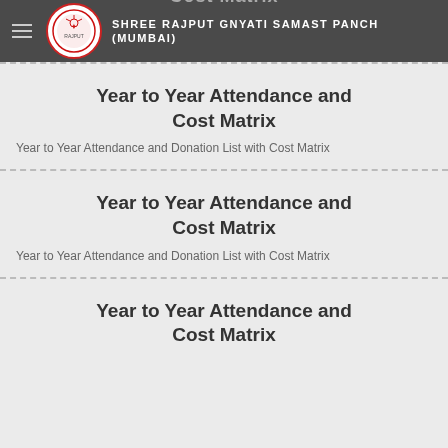SHREE RAJPUT GNYATI SAMAST PANCH (MUMBAI)
Year to Year Attendance and Cost Matrix
Year to Year Attendance and Donation List with Cost Matrix
Year to Year Attendance and Cost Matrix
Year to Year Attendance and Donation List with Cost Matrix
Year to Year Attendance and Cost Matrix